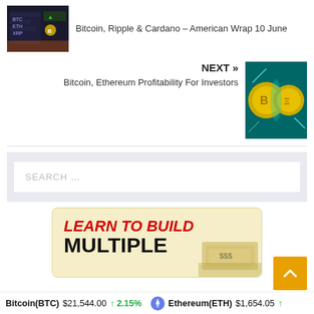[Figure (photo): Thumbnail image of cryptocurrency trading screen showing BTC, ETH tickers with green/orange highlights]
Bitcoin, Ripple & Cardano – American Wrap 10 June
NEXT »
Bitcoin, Ethereum Profitability For Investors
[Figure (photo): Thumbnail image of gold Bitcoin and Ethereum coins with electric sparks on teal background]
[Figure (screenshot): Search box widget with placeholder text SEARCH ...]
[Figure (infographic): Advertisement banner with text LEARN TO BUILD MULTIPLE on cream/yellow background with money image]
Bitcoin(BTC) $21,544.00 ↑ 2.15%   Ethereum(ETH) $1,654.05 ↑